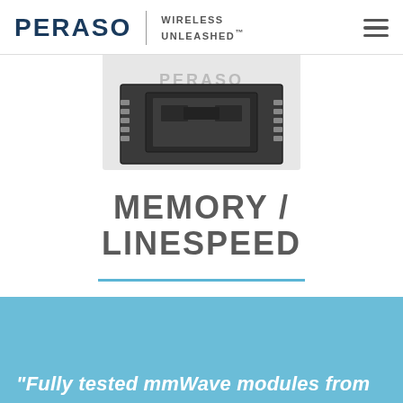PERASO | WIRELESS UNLEASHED™
[Figure (photo): A chip/IC module photograph showing a dark rectangular integrated circuit with connector pads on both sides, displayed against a light grey background overlay with the PERASO logo watermark.]
MEMORY / LINESPEED
LEARN MORE
“Fully tested mmWave modules from